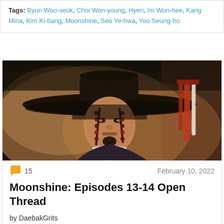Tags: Byun Woo-seok, Choi Won-young, Hyeri, Im Won-hee, Kang Mina, Kim Ki-bang, Moonshine, Seo Ye-hwa, Yoo Seung-ho
[Figure (photo): Close-up of a man wearing a traditional Korean wide-brimmed black hat (gat), with dark braided beaded accessories and beard, set against a blurred warm-toned background. A red and white tassel is visible on the right.]
15   February 10, 2022
Moonshine: Episodes 13-14 Open Thread
by DaebakGrits